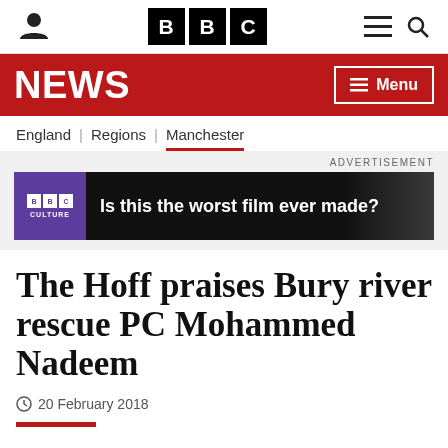BBC NEWS
NEWS | Menu
England | Regions | Manchester
[Figure (screenshot): BBC Culture advertisement banner: 'Is this the worst film ever made?']
The Hoff praises Bury river rescue PC Mohammed Nadeem
20 February 2018